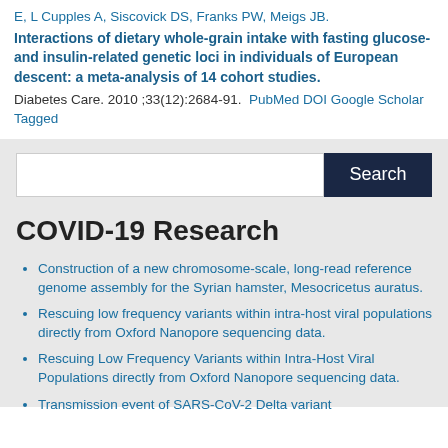E, L Cupples A, Siscovick DS, Franks PW, Meigs JB.
Interactions of dietary whole-grain intake with fasting glucose- and insulin-related genetic loci in individuals of European descent: a meta-analysis of 14 cohort studies.
Diabetes Care. 2010 ;33(12):2684-91. PubMed DOI Google Scholar Tagged
COVID-19 Research
Construction of a new chromosome-scale, long-read reference genome assembly for the Syrian hamster, Mesocricetus auratus.
Rescuing low frequency variants within intra-host viral populations directly from Oxford Nanopore sequencing data.
Rescuing Low Frequency Variants within Intra-Host Viral Populations directly from Oxford Nanopore sequencing data.
Transmission event of SARS-CoV-2 Delta variant